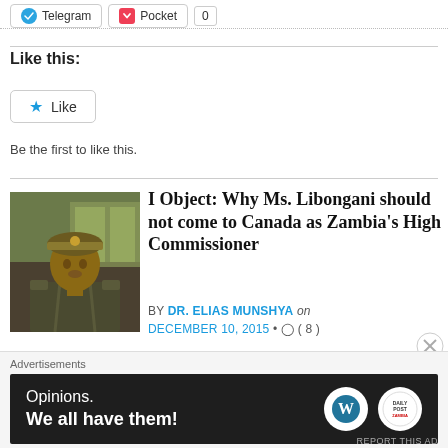[Figure (screenshot): Share buttons row: Telegram and Pocket buttons with count badge showing 0]
Like this:
[Figure (screenshot): Like button widget with star icon]
Be the first to like this.
I Object: Why Ms. Libongani should not come to Canada as Zambia's High Commissioner
BY DR. ELIAS MUNSHYA on DECEMBER 10, 2015 • ( 8 )
By E. Munshya, LLM, M.Div., MBA
To all police officers, please serve Zambians impartially. Do not shoot the innocent. Do not curtail liberties of our people. Protect President Lungu just
Advertisements
[Figure (screenshot): WordPress Opinions advertisement banner: dark background with text 'Opinions. We all have them!' and WordPress and secondary logos]